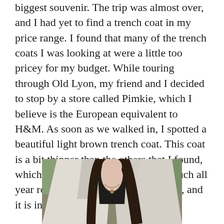biggest souvenir. The trip was almost over, and I had yet to find a trench coat in my price range. I found that many of the trench coats I was looking at were a little too pricey for my budget. While touring through Old Lyon, my friend and I decided to stop by a store called Pimkie, which I believe is the European equivalent to H&M. As soon as we walked in, I spotted a beautiful light brown trench coat. This coat is a bit thinner than the others that I found, which means it can be worn pretty much all year round. I paid €50.00 for this coat, and it is in a size small.
[Figure (photo): A woman wearing a light-colored trench coat with a wide lapel collar, with a necklace visible, dark hair, photographed outdoors.]